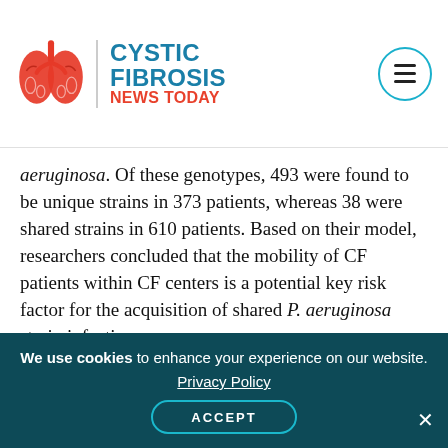Cystic Fibrosis News Today
aeruginosa. Of these genotypes, 493 were found to be unique strains in 373 patients, whereas 38 were shared strains in 610 patients. Based on their model, researchers concluded that the mobility of CF patients within CF centers is a potential key risk factor for the acquisition of shared P. aeruginosa strain infections.
Print This Page
We use cookies to enhance your experience on our website. Privacy Policy ACCEPT